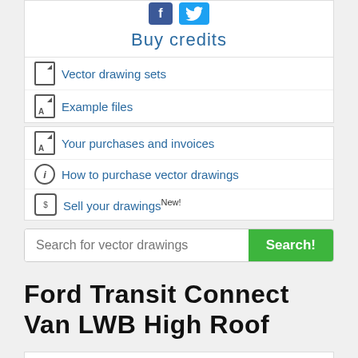Buy credits
Vector drawing sets
Example files
Your purchases and invoices
How to purchase vector drawings
Sell your drawingsNew!
Search for vector drawings
Ford Transit Connect Van LWB High Roof
| Field | Value |
| --- | --- |
| Model years | 2002 - 2013 |
| Format
You get all formats when you buy the drawing. | Adobe Illustrator (.ai)
Encapsulated Postscript (.eps)
Portable Document Format... |